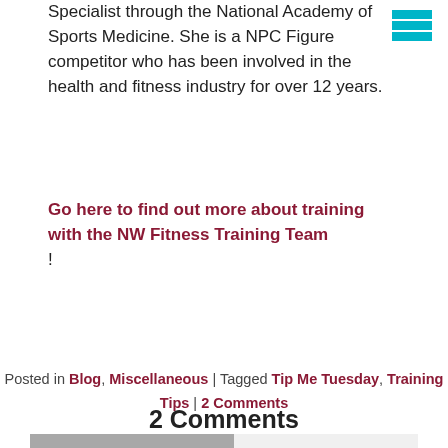Specialist through the National Academy of Sports Medicine. She is a NPC Figure competitor who has been involved in the health and fitness industry for over 12 years.
Go here to find out more about training with the NW Fitness Training Team
!
Posted in Blog, Miscellaneous | Tagged Tip Me Tuesday, Training Tips | 2 Comments
2 Comments
[Figure (photo): User avatar placeholder image showing a blurred silhouette on a gray background, with a TOP button visible in the upper right of the comment section]